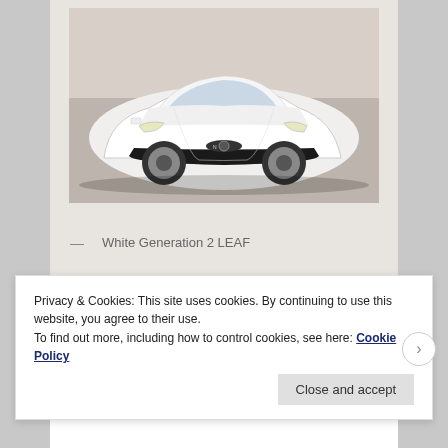[Figure (photo): White Nissan LEAF Generation 2 electric car photographed from front-left angle on a gray textured floor]
— White Generation 2 LEAF
When I returned home and tallied up the numbers, I had:
118 cars total
Privacy & Cookies: This site uses cookies. By continuing to use this website, you agree to their use.
To find out more, including how to control cookies, see here: Cookie Policy